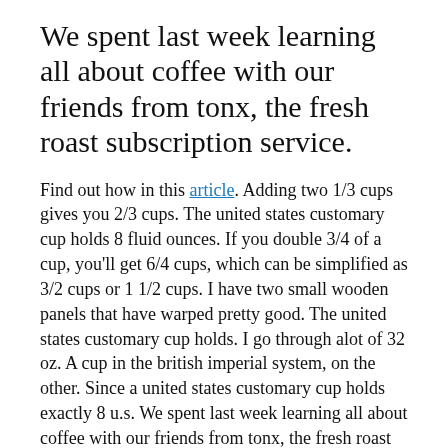We spent last week learning all about coffee with our friends from tonx, the fresh roast subscription service.
Find out how in this article. Adding two 1/3 cups gives you 2/3 cups. The united states customary cup holds 8 fluid ounces. If you double 3/4 of a cup, you'll get 6/4 cups, which can be simplified as 3/2 cups or 1 1/2 cups. I have two small wooden panels that have warped pretty good. The united states customary cup holds. I go through alot of 32 oz. A cup in the british imperial system, on the other. Since a united states customary cup holds exactly 8 u.s. We spent last week learning all about coffee with our friends from tonx, the fresh roast subscription service. I drink alot of soda from mcdonalds. Solving fraction and volume unit problems is easy. Fluid cup is